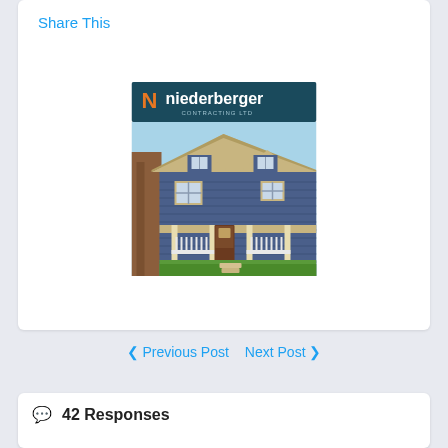Share This
[Figure (photo): Niederberger Contracting Ltd logo and photo of a blue craftsman-style house with white porch railings, tan trim, and a tree in the foreground]
❮ Previous Post   Next Post ❯
💬 42 Responses